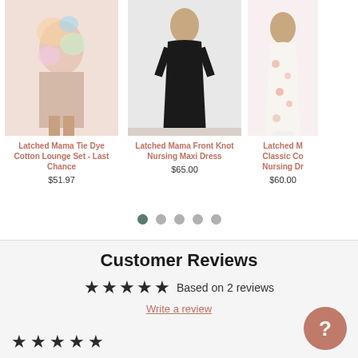[Figure (photo): Latched Mama Tie Dye Cotton Lounge Set product photo - woman wearing tie dye lounge set]
Latched Mama Tie Dye Cotton Lounge Set - Last Chance
$51.97
[Figure (photo): Latched Mama Front Knot Nursing Maxi Dress product photo - woman in black maxi dress]
Latched Mama Front Knot Nursing Maxi Dress
$65.00
[Figure (photo): Latched Mama Classic Cotton Nursing Dress product photo - woman in floral dress, partially visible]
Latched M... Classic Co... Nursing Dr...
$60.00
Customer Reviews
★★★★★ Based on 2 reviews
Write a review